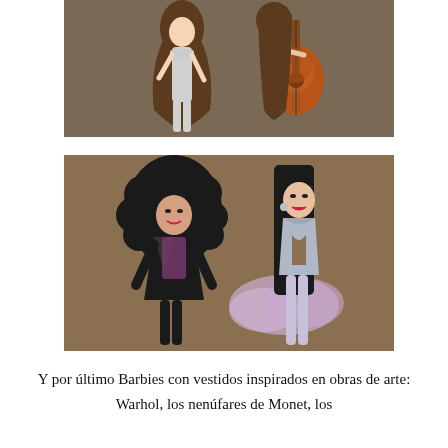[Figure (photo): Two Barbie dolls: one on the left in a silver/white sparkly jumpsuit with long wavy brown hair, one on the right in a purple/grey patterned top holding an acoustic guitar with long brown hair and a choker necklace. Background is a warm tan/brown tone.]
[Figure (photo): Two Cher-inspired Barbie dolls: left doll has large voluminous black curly hair, wearing a black leather jacket over a sheer lace bodysuit; right doll has long straight black hair, wearing a sparkly silver crop top and holding a lavender/purple feathery boa or skirt. Background is warm tan/brown.]
Y por último Barbies con vestidos inspirados en obras de arte: Warhol, los nenúfares de Monet, los